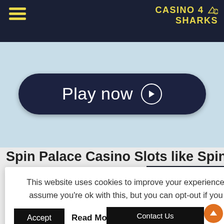CASINO 4 SHARKS
[Figure (screenshot): Play now button with dark navy rounded rectangle and white play icon]
Spin Palace Casino Slots like Spin
This website uses cookies to improve your experience. We'll assume you're ok with this, but you can opt-out if you wish.
Accept   Read More
[Figure (screenshot): Casino mobile app screenshot showing Register and Login buttons with colorful background]
Contact Us